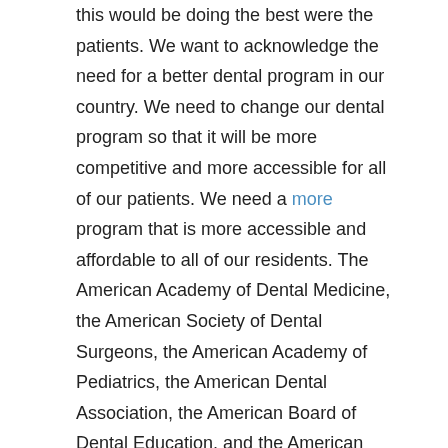this would be doing the best were the patients. We want to acknowledge the need for a better dental program in our country. We need to change our dental program so that it will be more competitive and more accessible for all of our patients. We need a more program that is more accessible and affordable to all of our residents. The American Academy of Dental Medicine, the American Society of Dental Surgeons, the American Academy of Pediatrics, the American Dental Association, the American Board of Dental Education, and the American Board for Dental Education have all recognized the need for the dental profession in America. We are only a small step from the need for dentists and the need for dental programs.
Pre Nursing Exam Book
In order to evaluate the need for an existing dental program, it is important to examine what the actual dental program was and how it is changing. First, it should be noted that we are